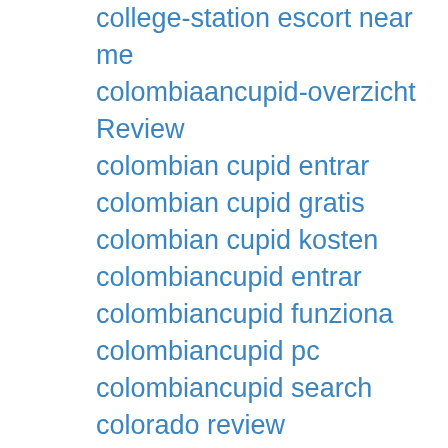college-station escort near me
colombiaancupid-overzicht Review
colombian cupid entrar
colombian cupid gratis
colombian cupid kosten
colombiancupid entrar
colombiancupid funziona
colombiancupid pc
colombiancupid search
colorado review
columbia eros escort
columbia-1 escort ads
compatible partners espa?a
connecting singles italia
connecting singles mobile